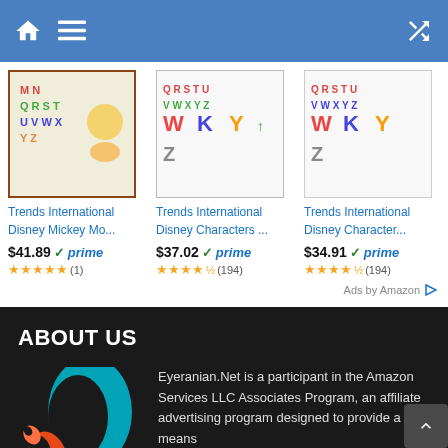Navigation bar with home, menu, and shuffle icons
[Figure (photo): Trends International Disney Mickey Mo... product image - alphabet poster]
Trends International Disney Mickey Mo...
$41.89 ✓prime ★★★★★ (1)
[Figure (photo): Trends International Disney Characters ... product image - alphabet poster]
Trends International Disney Characters ...
$37.02 ✓prime ★★★★☆ (194)
[Figure (photo): Trends International Disney Character... product image - alphabet poster]
Trends International Disney Character...
$34.91 ✓prime ★★★★☆ (194)
Ads by Amazon
ABOUT US
[Figure (logo): Eyeranian.Net logo - colorful swirl/teardrop shape in teal, orange and red]
Eyeranian.Net is a participant in the Amazon Services LLC Associates Program, an affiliate advertising program designed to provide a means